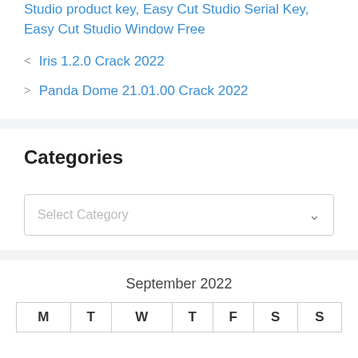Studio product key, Easy Cut Studio Serial Key, Easy Cut Studio Window Free
Iris 1.2.0 Crack 2022
Panda Dome 21.01.00 Crack 2022
Categories
Select Category
| M | T | W | T | F | S | S |
| --- | --- | --- | --- | --- | --- | --- |